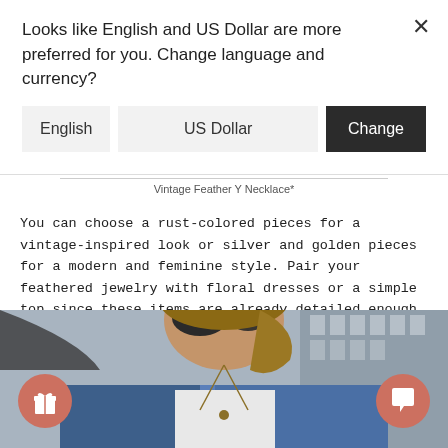Looks like English and US Dollar are more preferred for you. Change language and currency?
[Figure (screenshot): Modal dialog with English language button, US Dollar button, and dark Change button]
Vintage Feather Y Necklace*
You can choose a rust-colored pieces for a vintage-inspired look or silver and golden pieces for a modern and feminine style. Pair your feathered jewelry with floral dresses or a simple top since these items are already detailed enough to be your staple piece.
[Figure (photo): Woman wearing sunglasses and a denim jacket with a necklace, photographed outdoors]